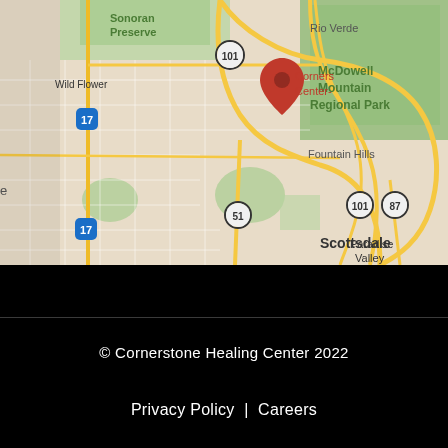[Figure (map): Google Maps view showing Scottsdale, Arizona area with a red location pin marking Corners Center. Visible labels include Sonoran Preserve, Wild Flower, Rio Verde, McDowell Mountain Regional Park, Fountain Hills, Paradise Valley, Scottsdale, and highway markers 17, 101, 51, 87.]
© Cornerstone Healing Center 2022
Privacy Policy | Careers